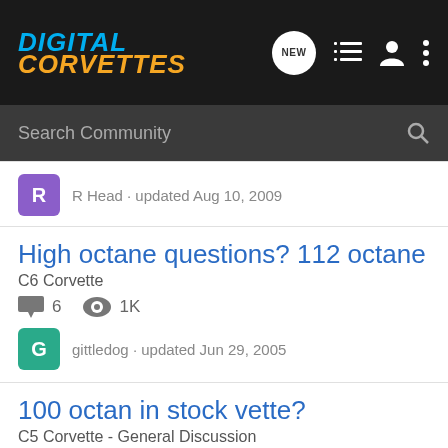Digital Corvettes
Search Community
R Head · updated Aug 10, 2009
High octane questions? 112 octane
C6 Corvette
6 comments  1K views
gittledog · updated Jun 29, 2005
100 octan in stock vette?
C5 Corvette - General Discussion
12 comments  1K views
Sweet C5 · updated Jun 22, 2005